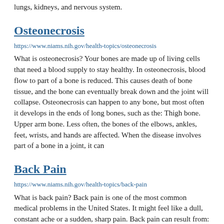lungs, kidneys, and nervous system.
Osteonecrosis
https://www.niams.nih.gov/health-topics/osteonecrosis
What is osteonecrosis? Your bones are made up of living cells that need a blood supply to stay healthy. In osteonecrosis, blood flow to part of a bone is reduced. This causes death of bone tissue, and the bone can eventually break down and the joint will collapse. Osteonecrosis can happen to any bone, but most often it develops in the ends of long bones, such as the: Thigh bone. Upper arm bone. Less often, the bones of the elbows, ankles, feet, wrists, and hands are affected. When the disease involves part of a bone in a joint, it can
Back Pain
https://www.niams.nih.gov/health-topics/back-pain
What is back pain? Back pain is one of the most common medical problems in the United States. It might feel like a dull, constant ache or a sudden, sharp pain. Back pain can result from: An accident. A fall. Lifting something heavy. Changes that happen in the spine as you age. A disorder or medical condition. Treatment depends on the cause and symptoms of your pain. You can do things to improve your health and lower your chance of developing chronic (long-